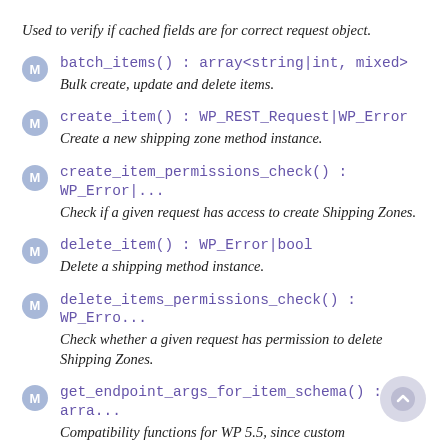Used to verify if cached fields are for correct request object.
batch_items() : array<string|int, mixed> — Bulk create, update and delete items.
create_item() : WP_REST_Request|WP_Error — Create a new shipping zone method instance.
create_item_permissions_check() : WP_Error|... — Check if a given request has access to create Shipping Zones.
delete_item() : WP_Error|bool — Delete a shipping method instance.
delete_items_permissions_check() : WP_Erro... — Check whether a given request has permission to delete Shipping Zones.
get_endpoint_args_for_item_schema() : arra... — Compatibility functions for WP 5.5, since custom